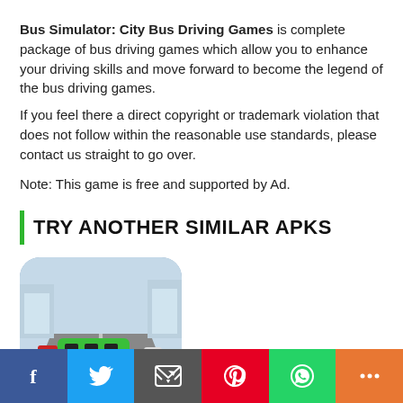Bus Simulator: City Bus Driving Games is complete package of bus driving games which allow you to enhance your driving skills and move forward to become the legend of the bus driving games.
If you feel there a direct copyright or trademark violation that does not follow within the reasonable use standards, please contact us straight to go over.
Note: This game is free and supported by Ad.
TRY ANOTHER SIMILAR APKS
[Figure (screenshot): App icon/screenshot showing a green bus driving on a highway with other vehicles]